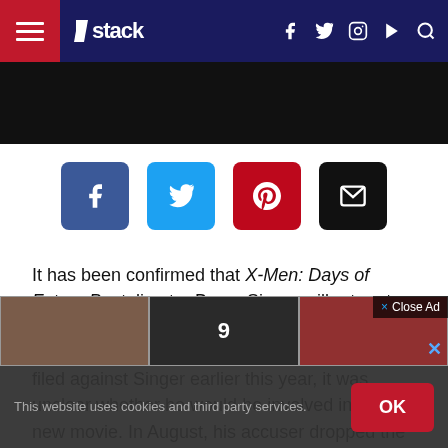stack
[Figure (other): Social share buttons row: Facebook (blue), Twitter (light blue), Pinterest (red), Email (black)]
It has been confirmed that X-Men: Days of Future Past director Bryan Singer will return to the franchise to direct the upcoming X-Men Apocalypse. When a sex abuse lawsuit was filed against Singer earlier this year, it was unclear whether he would be involved in the new movie. In August, his accuser dropped the lawsuit, so things seem to be b...
[Figure (screenshot): Ad overlay with Close Ad button and thumbnail images]
This website uses cookies and third party services.